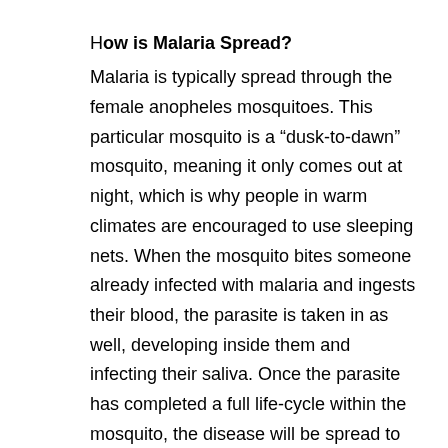How is Malaria Spread?
Malaria is typically spread through the female anopheles mosquitoes. This particular mosquito is a “dusk-to-dawn” mosquito, meaning it only comes out at night, which is why people in warm climates are encouraged to use sleeping nets. When the mosquito bites someone already infected with malaria and ingests their blood, the parasite is taken in as well, developing inside them and infecting their saliva. Once the parasite has completed a full life-cycle within the mosquito, the disease will be spread to the subsequent humans bitten by the mosquito.